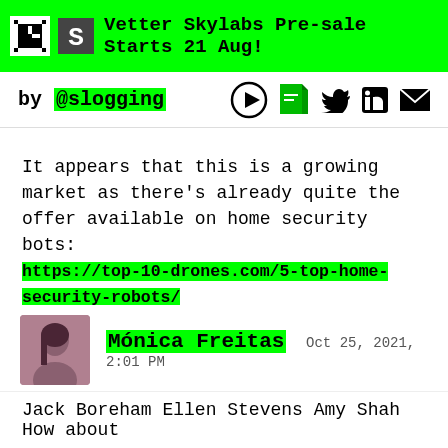Vetter Skylabs Pre-sale Starts 21 Aug!
by @slogging
It appears that this is a growing market as there's already quite the offer available on home security bots: https://top-10-drones.com/5-top-home-security-robots/
Mónica Freitas  Oct 25, 2021, 2:01 PM
Jack Boreham Ellen Stevens Amy Shah How about